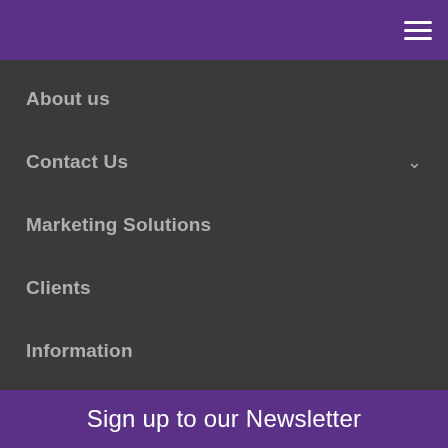☰
About us
Contact Us
Marketing Solutions
Clients
Information
Sign up to our Newsletter